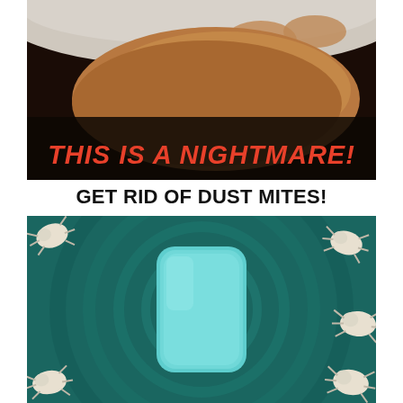[Figure (photo): Close-up photo of a human hand/skin with dark background, with bold red italic text overlay reading THIS IS A NIGHTMARE!]
GET RID OF DUST MITES!
[Figure (illustration): Illustration of a teal/turquoise rounded device in the center surrounded by concentric rings on a dark teal background, with cartoon dust mites around the edges being repelled]